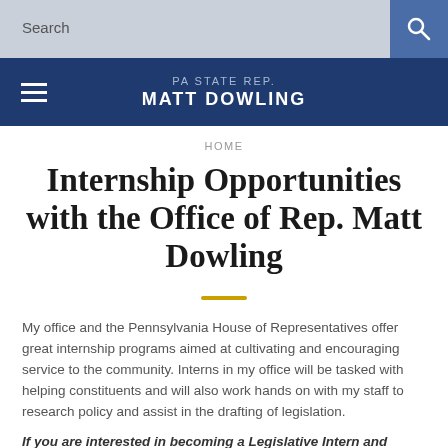Search
PA STATE REP. MATT DOWLING
HOME
Internship Opportunities with the Office of Rep. Matt Dowling
My office and the Pennsylvania House of Representatives offer great internship programs aimed at cultivating and encouraging service to the community. Interns in my office will be tasked with helping constituents and will also work hands on with my staff to research policy and assist in the drafting of legislation.
If you are interested in becoming a Legislative Intern and Constituent Outreach Specialist: